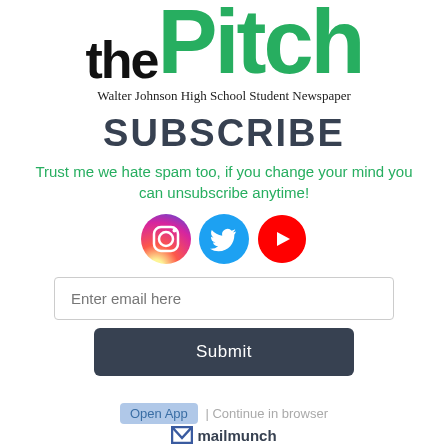[Figure (logo): The Pitch logo — 'the' in black bold and 'Pitch' in large green bold font]
Walter Johnson High School Student Newspaper
SUBSCRIBE
Trust me we hate spam too, if you change your mind you can unsubscribe anytime!
[Figure (illustration): Instagram, Twitter, and YouTube social media icons in a row]
Enter email here
Submit
Open App  |  Continue in browser  mailmunch